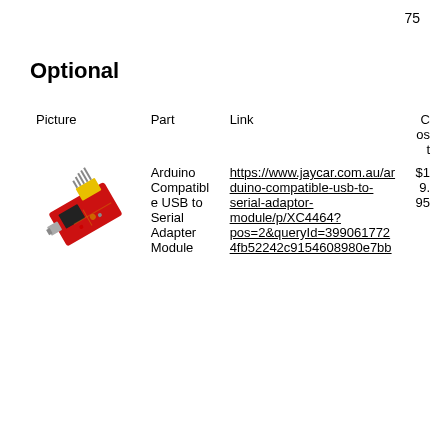75
Optional
| Picture | Part | Link | Cost |
| --- | --- | --- | --- |
| [image of Arduino Compatible USB to Serial Adapter Module] | Arduino Compatible USB to Serial Adapter Module | https://www.jaycar.com.au/arduino-compatible-usb-to-serial-adaptor-module/p/XC4464?pos=2&queryId=399061772 4fb52242c9154608980e7bb | $19.95 |